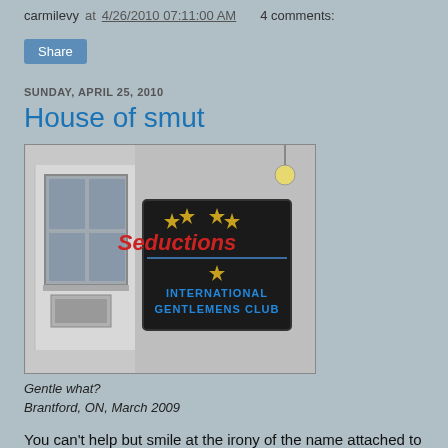carmilevy at 4/26/2010 07:11:00 AM   4 comments:
Share
SUNDAY, APRIL 25, 2010
House of smut
[Figure (photo): Photo of a building exterior showing a sign reading 'Seductions INTERNATIONAL GENTLEMENS CLUB' with gold stars on a black background, mounted on a white building wall next to a window with an air conditioner unit.]
Gentle what?
Brantford, ON, March 2009
You can't help but smile at the irony of the name attached to this dimly lit, run-down building hard by the tracks that